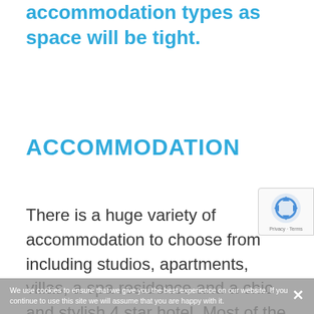accommodation types as space will be tight.
ACCOMMODATION
There is a huge variety of accommodation to choose from including studios, apartments, villas, a spa residence and a chic and stylish 4 star hotel. Most of the
[Figure (other): reCAPTCHA badge with recycling arrow icon and Privacy · Terms links]
We use cookies to ensure that we give you the best experience on our website. If you continue to use this site we will assume that you are happy with it.